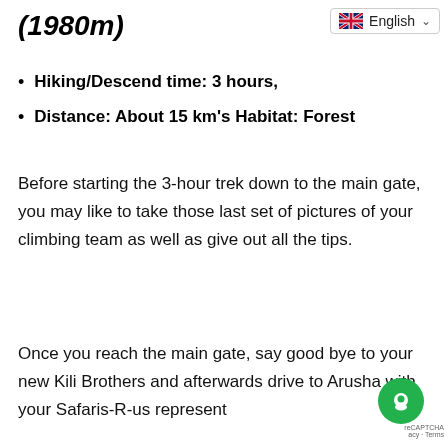(1980m)
[Figure (illustration): UK flag icon with English language selector dropdown]
Hiking/Descend time: 3 hours,
Distance: About 15 km's Habitat: Forest
Before starting the 3-hour trek down to the main gate, you may like to take those last set of pictures of your climbing team as well as give out all the tips.
Once you reach the main gate, say good bye to your new Kili Brothers and afterwards drive to Arusha with your Safaris-R-us represent...